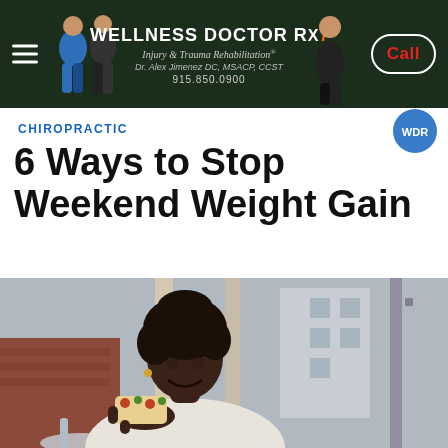[Figure (screenshot): Wellness Doctor Rx website header banner with dark green background, hamburger menu icon, Dr. Alex Jimenez branding, phone number 915.850.0900, and a white-bordered Call button with red text. Fitness/medical professional figures visible in the banner.]
CHIROPRACTIC
6 Ways to Stop Weekend Weight Gain
[Figure (photo): A smiling Black woman with natural hair eating a slice of food (possibly pizza or toast with toppings) at an outdoor restaurant/café setting. She is wearing a white knit sweater. Background shows building architecture and outdoor seating.]